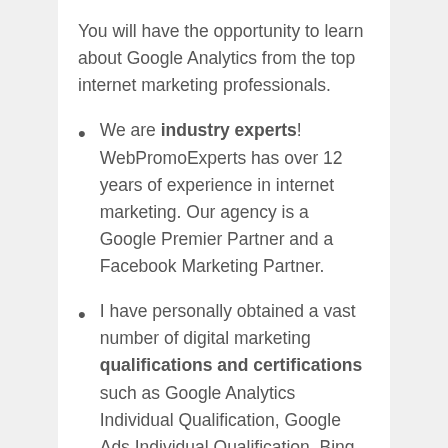You will have the opportunity to learn about Google Analytics from the top internet marketing professionals.
We are industry experts! WebPromoExperts has over 12 years of experience in internet marketing. Our agency is a Google Premier Partner and a Facebook Marketing Partner.
I have personally obtained a vast number of digital marketing qualifications and certifications such as Google Analytics Individual Qualification, Google Ads Individual Qualification, Bing Ads Accredited Professional, Search Ads 360…